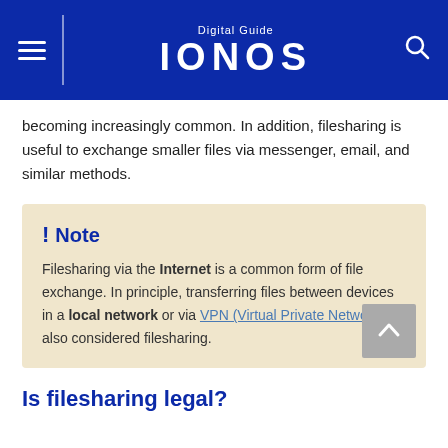Digital Guide IONOS
becoming increasingly common. In addition, filesharing is useful to exchange smaller files via messenger, email, and similar methods.
! Note

Filesharing via the Internet is a common form of file exchange. In principle, transferring files between devices in a local network or via VPN (Virtual Private Network) is also considered filesharing.
Is filesharing legal?